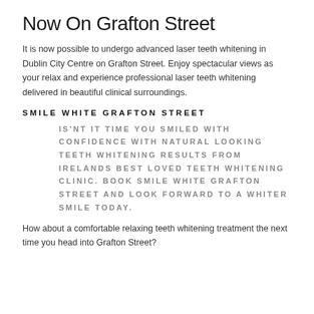Now On Grafton Street
It is now possible to undergo advanced laser teeth whitening in Dublin City Centre on Grafton Street. Enjoy spectacular views as your relax and experience professional laser teeth whitening delivered in beautiful clinical surroundings.
SMILE WHITE GRAFTON STREET
IS'NT IT TIME YOU SMILED WITH CONFIDENCE WITH NATURAL LOOKING TEETH WHITENING RESULTS FROM IRELANDS BEST LOVED TEETH WHITENING CLINIC. BOOK SMILE WHITE GRAFTON STREET AND LOOK FORWARD TO A WHITER SMILE TODAY.
How about a comfortable relaxing teeth whitening treatment the next time you head into Grafton Street?